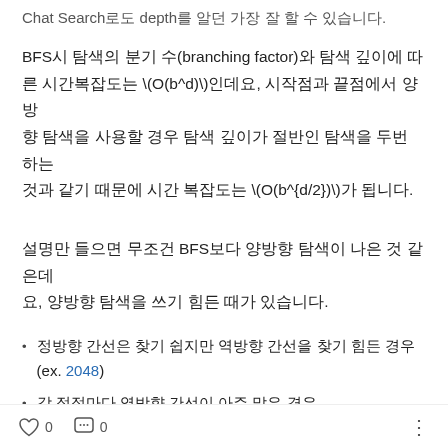Chat Search로도 depth를 알던 가장 잘 할 수 있습니다.
BFS시 탐색의 분기 수(branching factor)와 탐색 깊이에 따른 시간복잡도는 \(O(b^d)\)인데요, 시작점과 끝점에서 양방향 탐색을 사용할 경우 탐색 깊이가 절반인 탐색을 두번 하는 것과 같기 때문에 시간 복잡도는 \(O(b^{d/2})\)가 됩니다.
설명만 들으면 무조건 BFS보다 양방향 탐색이 나은 것 같은데요, 양방향 탐색을 쓰기 힘든 때가 있습니다.
정방향 간선은 찾기 쉽지만 역방향 간선을 찾기 힘든 경우 (ex. 2048)
각 정점마다 역방향 간선이 아주 많은 경우